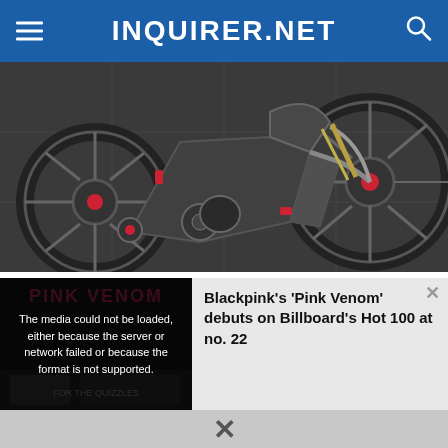INQUIRER.NET
[Figure (photo): Close-up photo of a high-tech carbon fiber electric bicycle with red accent pieces and large knobby tires, leaning against a concrete wall]
The Best Electric Bikes of 2022 at Affordable Prices
E Bikes | Sponsored
[Figure (screenshot): Video player overlay showing 'PINK VENOM' text in red on dark background with media error message: 'The media could not be loaded, either because the server or network failed or because the format is not supported.' alongside a news headline about Blackpink's 'Pink Venom' debuting on Billboard's Hot 100 at no. 22]
Blackpink's 'Pink Venom' debuts on Billboard's Hot 100 at no. 22
X